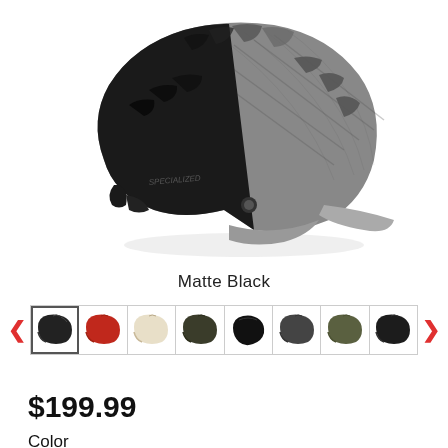[Figure (photo): Specialized mountain bike helmet in Matte Black colorway, shown in profile view with black matte front and gray textured rear section with ventilation slots]
Matte Black
[Figure (other): Carousel of 8 helmet color variant thumbnails with left and right navigation arrows. Colors shown: Matte Black (selected), Red, Cream/White, Dark Olive, Black side view, Dark Gray, Olive Green, Dark/Black]
$199.99
Color